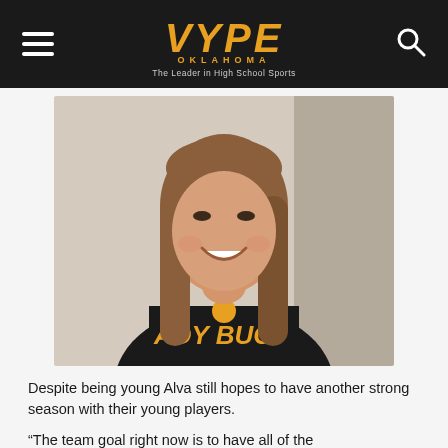VYPE OKLAHOMA — The Leader in High School Sports
[Figure (photo): Young woman with long brown hair smiling, wearing a black Ladybugs team shirt, posed against a light wall]
Despite being young Alva still hopes to have another strong season with their young players.
“The team goal right now is to have all of the